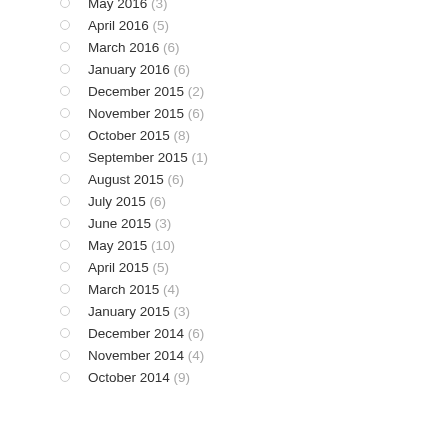May 2016 (3)
April 2016 (5)
March 2016 (6)
January 2016 (6)
December 2015 (2)
November 2015 (6)
October 2015 (8)
September 2015 (1)
August 2015 (6)
July 2015 (6)
June 2015 (3)
May 2015 (10)
April 2015 (5)
March 2015 (4)
January 2015 (3)
December 2014 (6)
November 2014 (4)
October 2014 (9)